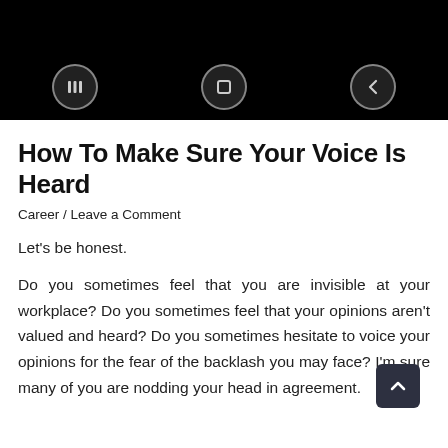[Figure (screenshot): Black Android navigation bar with three circular nav buttons: grid/menu icon, circle/home icon, and left arrow/back icon on a black background.]
How To Make Sure Your Voice Is Heard
Career / Leave a Comment
Let's be honest.
Do you sometimes feel that you are invisible at your workplace? Do you sometimes feel that your opinions aren't valued and heard? Do you sometimes hesitate to voice your opinions for the fear of the backlash you may face? I'm sure many of you are nodding your head in agreement.